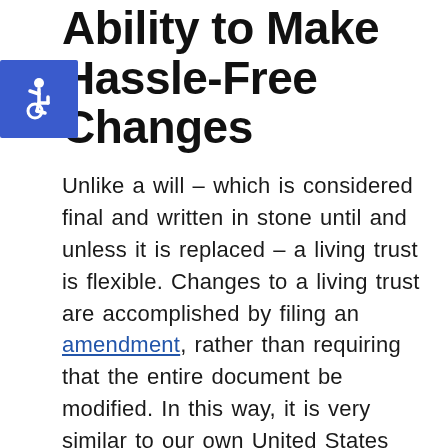Ability to Make Hassle-Free Changes
[Figure (illustration): Accessibility wheelchair icon in blue square]
Unlike a will – which is considered final and written in stone until and unless it is replaced – a living trust is flexible. Changes to a living trust are accomplished by filing an amendment, rather than requiring that the entire document be modified. In this way, it is very similar to our own United States Constitution, but without the need for lengthy deliberation or extensive approvals.
To modify your living trust, a form –